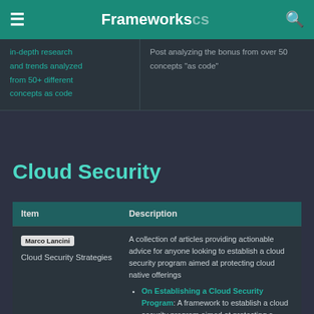Frameworks
in-depth research and trends analyzed from 50+ different concepts as code
Post analyzing the bonus from over 50 concepts "as code"
Cloud Security
| Item | Description |
| --- | --- |
| Marco Lancini
Cloud Security Strategies | A collection of articles providing actionable advice for anyone looking to establish a cloud security program aimed at protecting cloud native offerings
• On Establishing a Cloud Security Program: A framework to establish a cloud security program aimed at protecting a cloud native, service provider agnostic, |